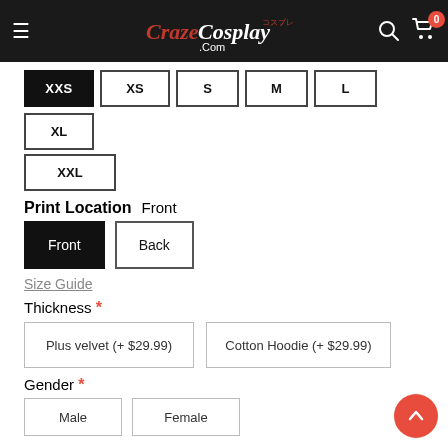CrazeCosplay.com — Navigation header with logo, search, and cart (0 items)
Size selector: XXS (selected), XS, S, M, L, XL, XXL
Print Location  Front
Print location selector: Front (selected), Back
Size Guide
Thickness *
Thickness options: Plus velvet (+ $29.99), Cotton Hoodie (+ $29.99)
Gender *
Gender options: Male, Female